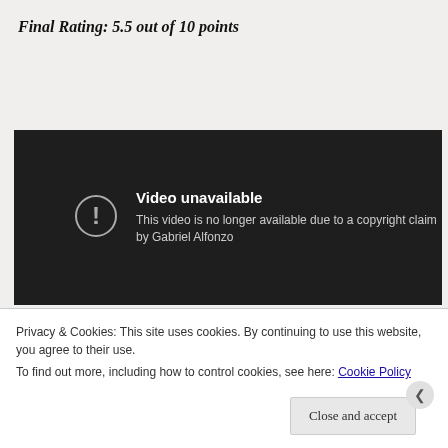Final Rating: 5.5 out of 10 points
[Figure (screenshot): Video unavailable error screen (dark background). Icon of circle with exclamation mark. Text: 'Video unavailable. This video is no longer available due to a copyright claim by Gabriel Alfonzo']
Privacy & Cookies: This site uses cookies. By continuing to use this website, you agree to their use.
To find out more, including how to control cookies, see here: Cookie Policy
Close and accept